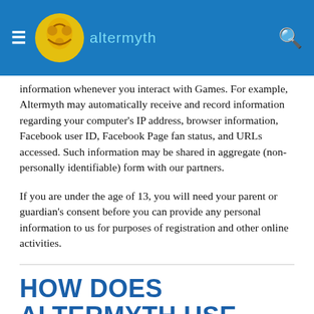altermyth
information whenever you interact with Games. For example, Altermyth may automatically receive and record information regarding your computer's IP address, browser information, Facebook user ID, Facebook Page fan status, and URLs accessed. Such information may be shared in aggregate (non-personally identifiable) form with our partners.
If you are under the age of 13, you will need your parent or guardian's consent before you can provide any personal information to us for purposes of registration and other online activities.
HOW DOES ALTERMYTH USE THE